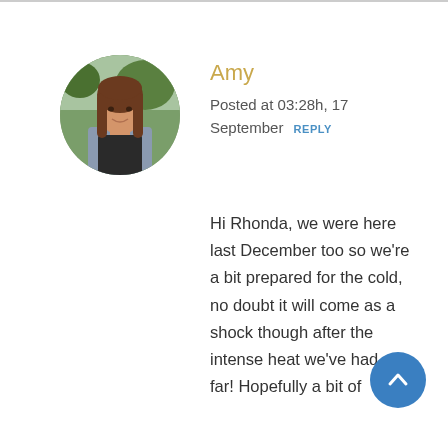[Figure (photo): Circular avatar photo of Amy, a woman with long brown hair, outdoors background]
Amy
Posted at 03:28h, 17 September  REPLY
Hi Rhonda, we were here last December too so we're a bit prepared for the cold, no doubt it will come as a shock though after the intense heat we've had so far! Hopefully a bit of